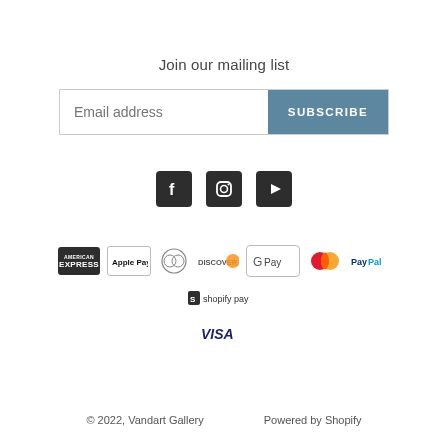Join our mailing list
[Figure (other): Email subscription form with text input placeholder 'Email address' and a 'SUBSCRIBE' button in steel blue]
[Figure (other): Social media icons: Facebook, Instagram, YouTube (dark square icons)]
[Figure (other): Payment method logos: American Express, Apple Pay, Diners Club, Discover, Google Pay, Mastercard, PayPal, Shopify Pay, Visa]
© 2022, Vandart Gallery      Powered by Shopify